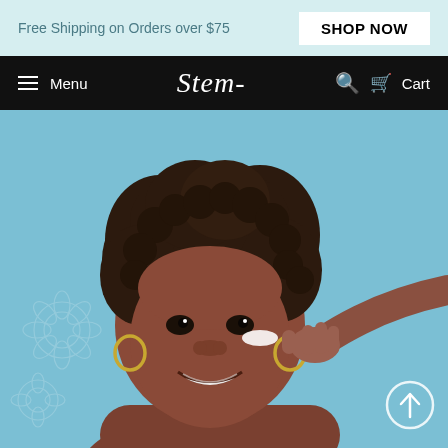Free Shipping on Orders over $75
SHOP NOW
Menu  Stem-  Cart
[Figure (photo): A smiling woman with natural curly hair applying face cream near her eye against a light blue background with floral illustrations. A scroll-up arrow button appears in the bottom-right corner of the image.]